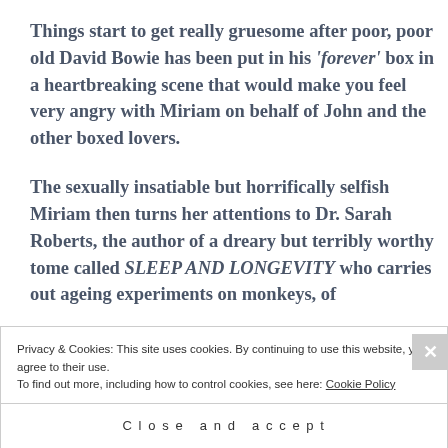Things start to get really gruesome after poor, poor old David Bowie has been put in his 'forever' box in a heartbreaking scene that would make you feel very angry with Miriam on behalf of John and the other boxed lovers.
The sexually insatiable but horrifically selfish Miriam then turns her attentions to Dr. Sarah Roberts, the author of a dreary but terribly worthy tome called SLEEP AND LONGEVITY who carries out ageing experiments on monkeys, of
Privacy & Cookies: This site uses cookies. By continuing to use this website, you agree to their use.
To find out more, including how to control cookies, see here: Cookie Policy
Close and accept